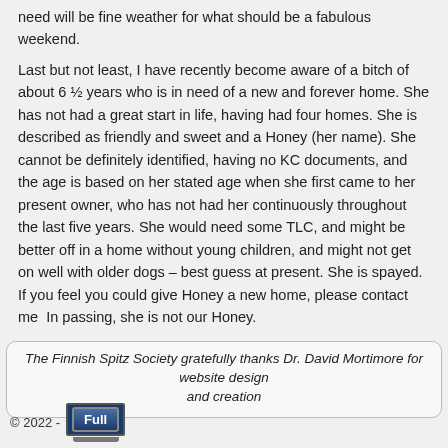need will be fine weather for what should be a fabulous weekend.
Last but not least, I have recently become aware of a bitch of about 6 ½ years who is in need of a new and forever home. She has not had a great start in life, having had four homes. She is described as friendly and sweet and a Honey (her name). She cannot be definitely identified, having no KC documents, and the age is based on her stated age when she first came to her present owner, who has not had her continuously throughout the last five years. She would need some TLC, and might be better off in a home without young children, and might not get on well with older dogs – best guess at present. She is spayed. If you feel you could give Honey a new home, please contact me  In passing, she is not our Honey.
Posted in Breed Notes, Show Commentary Tagged FS Society Championship, Fun Day, Manchester, Rehoming 🖇 permalink
← 06/01/17    DW515 →
The Finnish Spitz Society gratefully thanks Dr. David Mortimore for website design and creation
© 2022 - Full